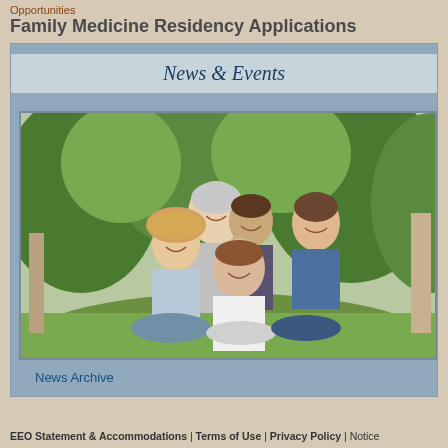Opportunities
Family Medicine Residency Applications
News & Events
[Figure (photo): A happy family of five sitting on green grass outdoors, smiling and laughing together. Includes parents and three children of varying ages.]
News Archive
EEO Statement & Accommodations | Terms of Use | Privacy Policy | Notice